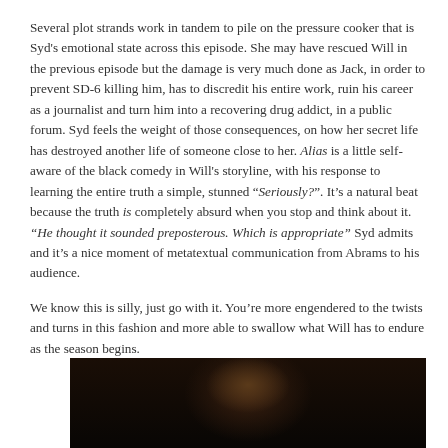Several plot strands work in tandem to pile on the pressure cooker that is Syd's emotional state across this episode. She may have rescued Will in the previous episode but the damage is very much done as Jack, in order to prevent SD-6 killing him, has to discredit his entire work, ruin his career as a journalist and turn him into a recovering drug addict, in a public forum. Syd feels the weight of those consequences, on how her secret life has destroyed another life of someone close to her. Alias is a little self-aware of the black comedy in Will's storyline, with his response to learning the entire truth a simple, stunned “Seriously?”. It’s a natural beat because the truth is completely absurd when you stop and think about it. “He thought it sounded preposterous. Which is appropriate” Syd admits and it’s a nice moment of metatextual communication from Abrams to his audience.

We know this is silly, just go with it. You’re more engendered to the twists and turns in this fashion and more able to swallow what Will has to endure as the season begins.
[Figure (photo): Dark, dimly lit close-up photo of a person's face, partially visible at the bottom of the page]